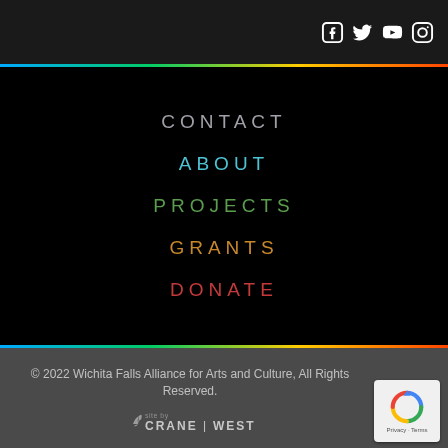[Figure (other): Social media icons: Facebook, Twitter, YouTube, Instagram — white icons on dark background, top right]
CONTACT
ABOUT
PROJECTS
GRANTS
DONATE
© 2022 Wichita Falls Alliance for Arts and Culture, All Rights Reserved.
site by CRANE | WEST
[Figure (logo): reCAPTCHA badge with Privacy and Terms links]